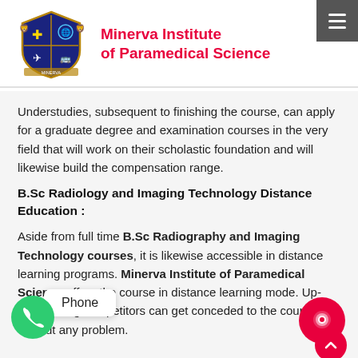[Figure (logo): Minerva Institute of Paramedical Science crest/shield logo with lions, medical symbols, and text 'MINERVA EDUCATIONAL INSTITUTION']
Minerva Institute of Paramedical Science
Understudies, subsequent to finishing the course, can apply for a graduate degree and examination courses in the very field that will work on their scholastic foundation and will likewise build the compensation range.
B.Sc Radiology and Imaging Technology Distance Education :
Aside from full time B.Sc Radiography and Imaging Technology courses, it is likewise accessible in distance learning programs. Minerva Institute of Paramedical Science offers the course in distance learning mode. Up-and-coming competitors can get conceded to the course without any problem.